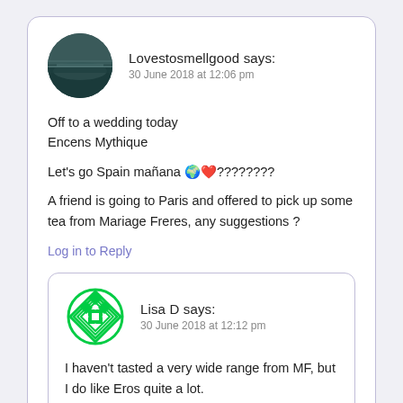Lovestosmellgood says:
30 June 2018 at 12:06 pm
Off to a wedding today Encens Mythique

Let's go Spain mañana 🌍❤️????????

A friend is going to Paris and offered to pick up some tea from Mariage Freres, any suggestions ?
Log in to Reply
Lisa D says:
30 June 2018 at 12:12 pm
I haven't tasted a very wide range from MF, but I do like Eros quite a lot.